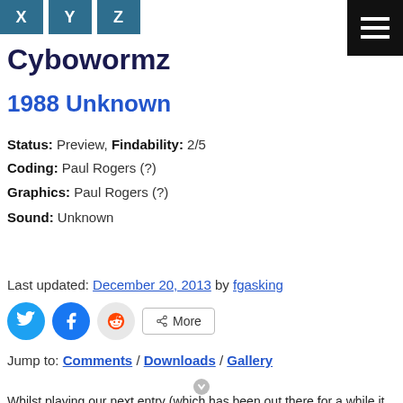X Y Z — Cybowormz
Cybowormz
1988 Unknown
Status: Preview, Findability: 2/5
Coding: Paul Rogers (?)
Graphics: Paul Rogers (?)
Sound: Unknown
Last updated: December 20, 2013 by fgasking
Jump to: Comments / Downloads / Gallery
Whilst playing our next entry (which has been out there for a while it seems), something seemed very familiar.
The game has quite a Spore-like feel to it, but the main ship looked just